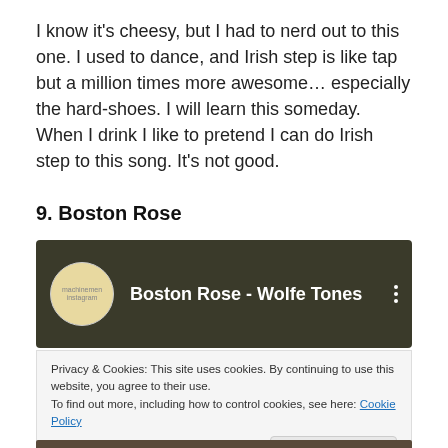I know it's cheesy, but I had to nerd out to this one. I used to dance, and Irish step is like tap but a million times more awesome… especially the hard-shoes. I will learn this someday. When I drink I like to pretend I can do Irish step to this song. It's not good.
9. Boston Rose
[Figure (screenshot): Embedded music player showing 'Boston Rose - Wolfe Tones' with a circular thumbnail logo and three-dot menu icon on a dark background.]
Privacy & Cookies: This site uses cookies. By continuing to use this website, you agree to their use.
To find out more, including how to control cookies, see here: Cookie Policy

[Close and accept button]